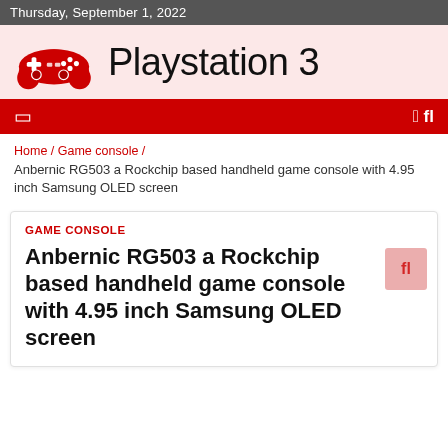Thursday, September 1, 2022
[Figure (logo): Playstation 3 logo with red game controller icon on pink background and text 'Playstation 3']
[Figure (other): Red navigation bar with hamburger menu icon on left and search icon on right]
Home / Game console / Anbernic RG503 a Rockchip based handheld game console with 4.95 inch Samsung OLED screen
GAME CONSOLE
Anbernic RG503 a Rockchip based handheld game console with 4.95 inch Samsung OLED screen